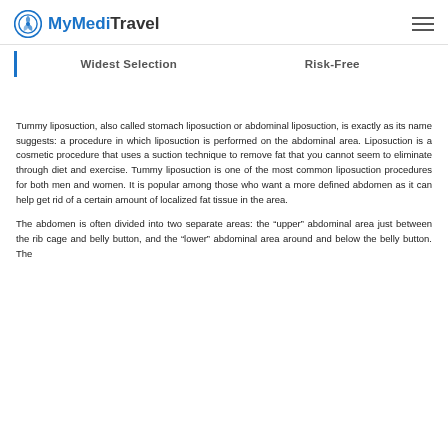MyMediTravel
Widest Selection    Risk-Free
Tummy liposuction, also called stomach liposuction or abdominal liposuction, is exactly as its name suggests: a procedure in which liposuction is performed on the abdominal area. Liposuction is a cosmetic procedure that uses a suction technique to remove fat that you cannot seem to eliminate through diet and exercise. Tummy liposuction is one of the most common liposuction procedures for both men and women. It is popular among those who want a more defined abdomen as it can help get rid of a certain amount of localized fat tissue in the area.
The abdomen is often divided into two separate areas: the “upper” abdominal area just between the rib cage and belly button, and the “lower” abdominal area around and below the belly button. The